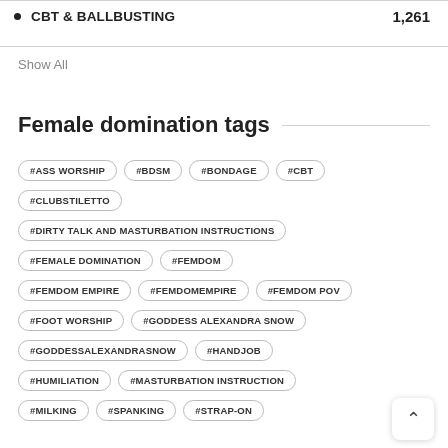CBT & BALLBUSTING    1,261
Show All
Female domination tags
#ASS WORSHIP
#BDSM
#BONDAGE
#CBT
#CLUBSTILETTO
#DIRTY TALK AND MASTURBATION INSTRUCTIONS
#FEMALE DOMINATION
#FEMDOM
#FEMDOM EMPIRE
#FEMDOMEMPIRE
#FEMDOM POV
#FOOT WORSHIP
#GODDESS ALEXANDRA SNOW
#GODDESSALEXANDRASNOW
#HANDJOB
#HUMILIATION
#MASTURBATION INSTRUCTION
#MILKING
#SPANKING
#STRAP-ON